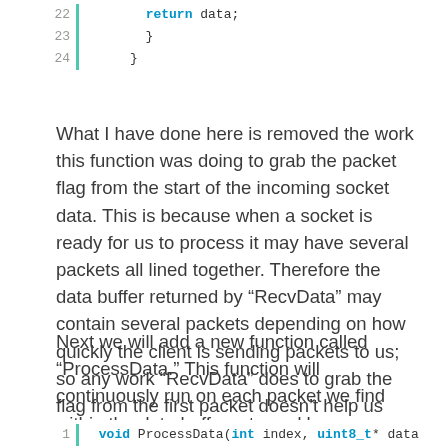[Figure (screenshot): Code snippet lines 22-24 showing closing braces of a function with 'return data;' statement, with green gutter line]
What I have done here is removed the work this function was doing to grab the packet flag from the start of the incoming socket data. This is because when a socket is ready for us to process it may have several packets all lined together. Therefore the data buffer returned by “RecvData” may contain several packets depending on how quickly the client is sending packets to us; so any work “RecvData” does to grab the flag from the first packet doesn’t help us identify the packet flags for all the other packets possibly following the first. Therefore the extra work being done isn’t necessary at this level.
Next we will add a new function called “ProcessData.” This function will continuously run on each packet we find within the data buffer returned by “RecvData.”
[Figure (screenshot): Code snippet line 1 showing beginning of ProcessData function declaration: void ProcessData(int index, uint8_t* data]